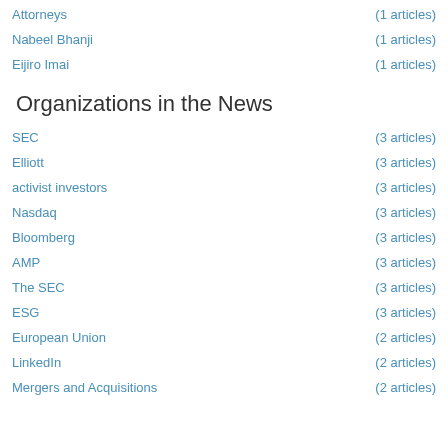Attorneys (1 articles)
Nabeel Bhanji (1 articles)
Eijiro Imai (1 articles)
Organizations in the News
SEC (3 articles)
Elliott (3 articles)
activist investors (3 articles)
Nasdaq (3 articles)
Bloomberg (3 articles)
AMP (3 articles)
The SEC (3 articles)
ESG (3 articles)
European Union (2 articles)
LinkedIn (2 articles)
Mergers and Acquisitions (2 articles)